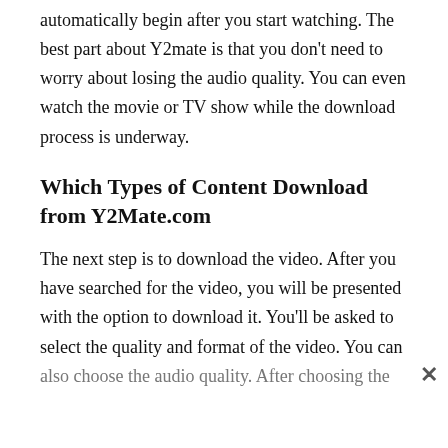automatically begin after you start watching. The best part about Y2mate is that you don't need to worry about losing the audio quality. You can even watch the movie or TV show while the download process is underway.
Which Types of Content Download from Y2Mate.com
The next step is to download the video. After you have searched for the video, you will be presented with the option to download it. You'll be asked to select the quality and format of the video. You can also choose the audio quality. After choosing the